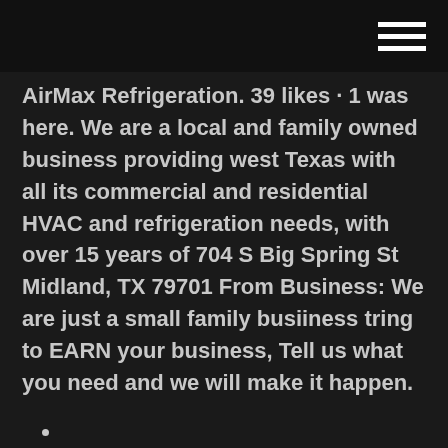AirMax Refrigeration. 39 likes · 1 was here.
AirMax Refrigeration. 39 likes · 1 was here. We are a local and family owned business providing west Texas with all its commercial and residential HVAC and refrigeration needs, with over 15 years of 704 S Big Spring St Midland, TX 79701 From Business: We are just a small family busiiness tring to EARN your business, Tell us what you need and we will make it happen.